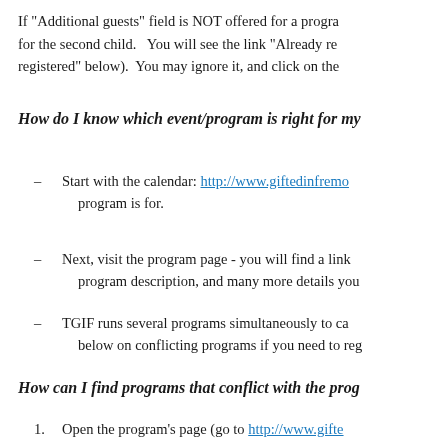If "Additional guests" field is NOT offered for a program, register for the second child.   You will see the link "Already registered" below).  You may ignore it, and click on the
How do I know which event/program is right for my
– Start with the calendar: http://www.giftedinfremo... program is for.
– Next, visit the program page - you will find a link program description, and many more details you
– TGIF runs several programs simultaneously to ca... below on conflicting programs if you need to reg
How can I find programs that conflict with the prog
1. Open the program's page (go to http://www.gifte